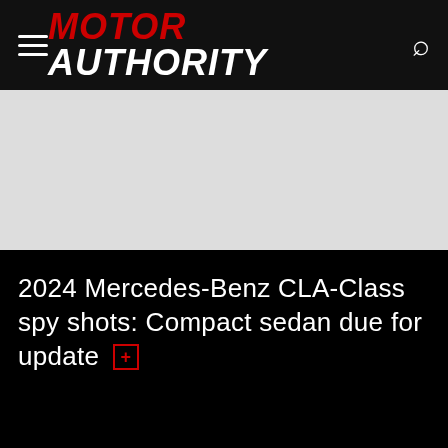MOTOR AUTHORITY
[Figure (photo): Advertisement/banner image area, light gray background]
2024 Mercedes-Benz CLA-Class spy shots: Compact sedan due for update [+]